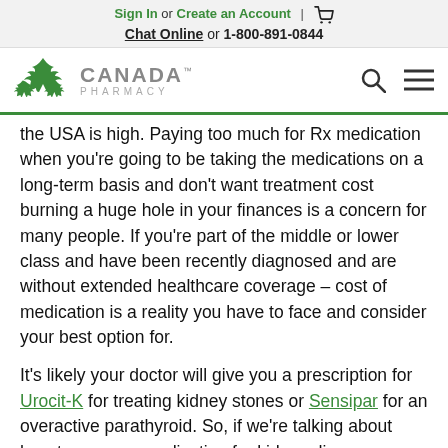Sign In or Create an Account | [cart icon]
Chat Online or 1-800-891-0844
[Figure (logo): Canada Pharmacy logo with green maple leaf icons and grey text]
the USA is high. Paying too much for Rx medication when you're going to be taking the medications on a long-term basis and don't want treatment cost burning a huge hole in your finances is a concern for many people. If you're part of the middle or lower class and have been recently diagnosed and are without extended healthcare coverage – cost of medication is a reality you have to face and consider your best option for.
It's likely your doctor will give you a prescription for Urocit-K for treating kidney stones or Sensipar for an overactive parathyroid. So, if we're talking about how to save on medication for kidney disease treatment,